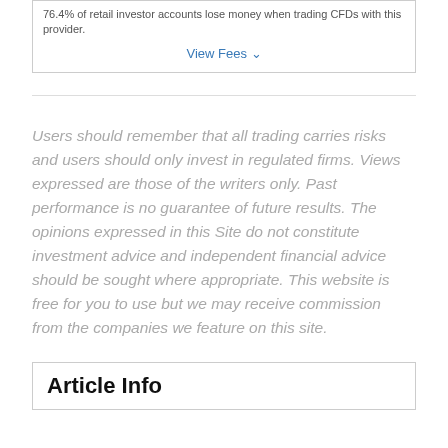76.4% of retail investor accounts lose money when trading CFDs with this provider.
View Fees
Users should remember that all trading carries risks and users should only invest in regulated firms. Views expressed are those of the writers only. Past performance is no guarantee of future results. The opinions expressed in this Site do not constitute investment advice and independent financial advice should be sought where appropriate. This website is free for you to use but we may receive commission from the companies we feature on this site.
Article Info